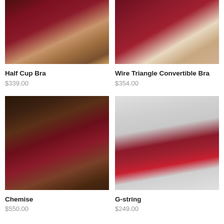[Figure (photo): Photo of model wearing red Half Cup Bra lingerie set in warm-toned interior setting]
Half Cup Bra
$339.00
[Figure (photo): Photo of model wearing red Wire Triangle Convertible Bra lingerie, showing torso/midsection]
Wire Triangle Convertible Bra
$354.00
[Figure (photo): Photo of model in red Chemise lingerie seated, viewed from back, in ornate interior]
Chemise
$550.00
[Figure (photo): Photo of red lace G-string and bralette set on white mannequin torso]
G-string
$249.00